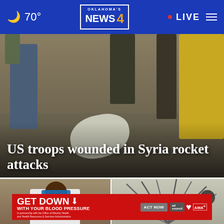Oklahoma's News 4 — 70° — LIVE
[Figure (photo): News article hero image showing people near debris on the ground, crowd in background]
US troops wounded in Syria rocket attacks
[Figure (photo): Thumbnail of a bald man wearing blue sunglasses outdoors]
[Figure (photo): Thumbnail showing palm tree or plant debris in grey tones]
[Figure (infographic): Advertisement: GET DOWN with your blood pressure. In partnership with the Office of Minority Health and Health Resources & Services Administration. ACT NOW. Ad Council, American Heart Association, AMA logos.]